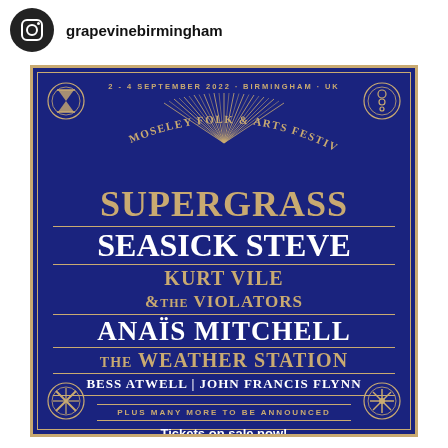grapevinebirmingham
[Figure (illustration): Moseley Folk & Arts Festival 2022 promotional poster on dark blue background with gold decorative border and ornamental corners. Features festival name at top with date '2 - 4 September 2022 · Birmingham · UK', followed by artist lineup: SUPERGRASS, SEASICK STEVE, KURT VILE & THE VIOLATORS, ANAÏS MITCHELL, THE WEATHER STATION, BESS ATWELL | JOHN FRANCIS FLYNN. Bottom text: 'PLUS MANY MORE TO BE ANNOUNCED' and 'Tickets on sale now!']